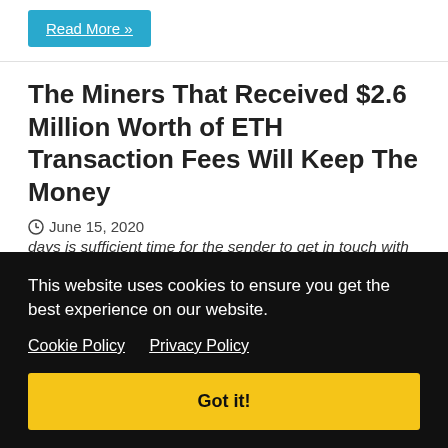Read More »
The Miners That Received $2.6 Million Worth of ETH Transaction Fees Will Keep The Money
June 15, 2020
The mining pool, which processed a mysterious Ethereum transfer carrying a needlessly excessive $2.6 million
ons mining r days hers Fly via s we ne ve 4 days is sufficient time for the sender to get in touch with us.— BitFly (@etherchain_org) June 15, 2020The sender has a
This website uses cookies to ensure you get the best experience on our website.
Cookie Policy   Privacy Policy
Got it!